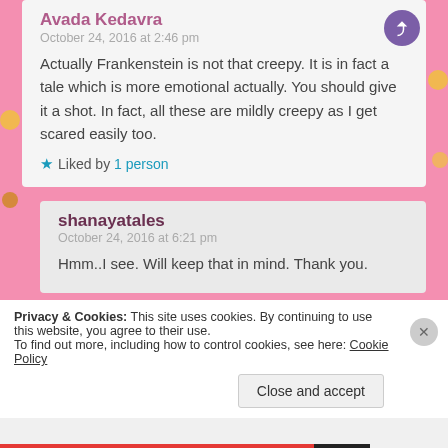Avada Kedavra
October 24, 2016 at 2:46 pm
Actually Frankenstein is not that creepy. It is in fact a tale which is more emotional actually. You should give it a shot. In fact, all these are mildly creepy as I get scared easily too.
Liked by 1 person
shanayatales
October 24, 2016 at 6:21 pm
Hmm..I see. Will keep that in mind. Thank you.
Privacy & Cookies: This site uses cookies. By continuing to use this website, you agree to their use.
To find out more, including how to control cookies, see here: Cookie Policy
Close and accept